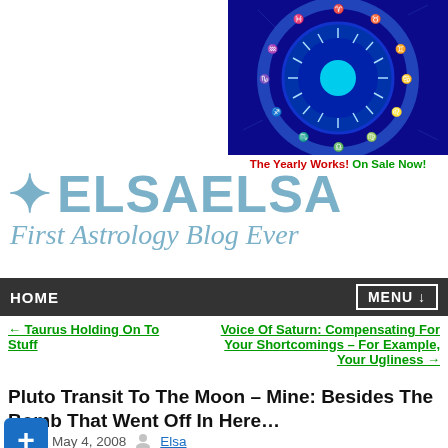[Figure (illustration): Blue zodiac wheel/astrology chart circle with sun in the center, surrounded by zodiac signs in blue tones]
The Yearly Works! On Sale Now!
[Figure (logo): ElsaElsa First Astrology Blog Ever logo with star and blue text]
HOME   MENU ↓
← Taurus Holding On To Stuff
Voice Of Saturn: Compensating For Your Shortcomings – For Example, Your Ugliness →
Pluto Transit To The Moon – Mine: Besides The Bomb That Went Off In Here…
May 4, 2008   Elsa